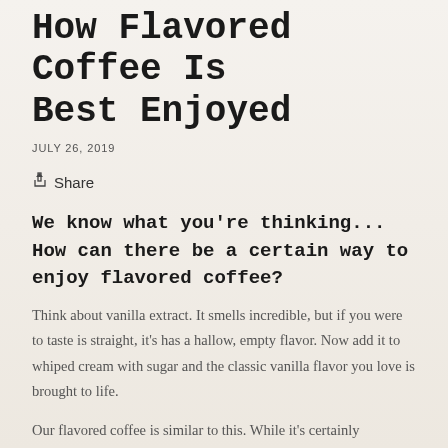How Flavored Coffee Is Best Enjoyed
JULY 26, 2019
Share
We know what you're thinking... How can there be a certain way to enjoy flavored coffee?
Think about vanilla extract. It smells incredible, but if you were to taste is straight, it's has a hallow, empty flavor. Now add it to whiped cream with sugar and the classic vanilla flavor you love is brought to life.
Our flavored coffee is similar to this. While it's certainly drinkable black, flavored coffee is best when given a